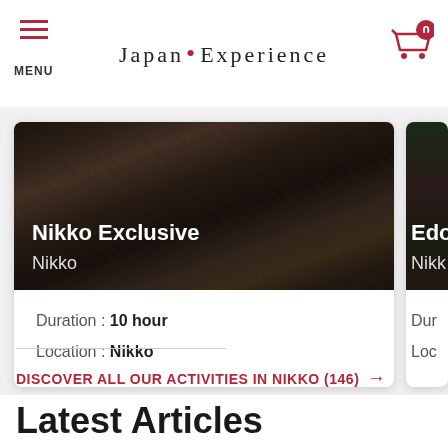MENU | Japan • Experience | Cart 0
[Figure (screenshot): Card showing Nikko Exclusive tour with rocky stream image. Duration: 10 hour, Location: Nikko. Partially visible second card showing Edo... tour.]
Duration : 10 hour
Location : Nikko
DISCOVER ALL OUR ACTIVITIES IN NIKKO (146) →
Latest Articles